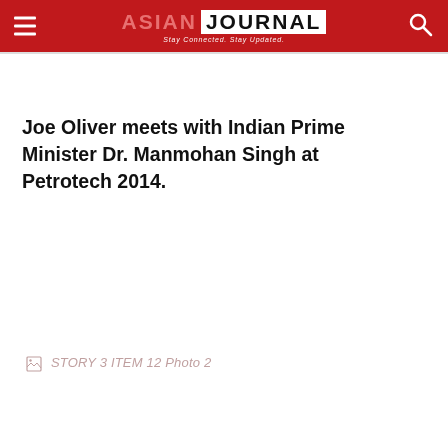ASIAN JOURNAL — Stay Connected. Stay Updated.
Joe Oliver meets with Indian Prime Minister Dr. Manmohan Singh at Petrotech 2014.
[Figure (photo): Broken image placeholder labeled 'STORY 3 ITEM 12 Photo 2']